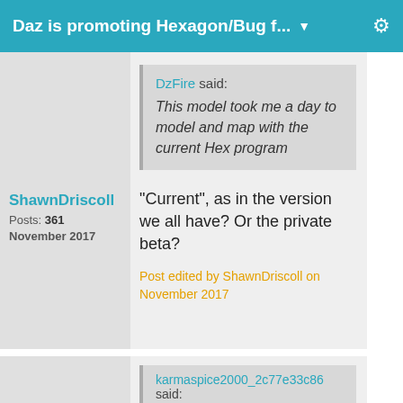Daz is promoting Hexagon/Bug f... ▼
[Figure (photo): Profile photo of ShawnDriscoll - man with gray hair against dark background]
ShawnDriscoll
Posts: 361
November 2017
DzFire said: This model took me a day to model and map with the current Hex program
"Current", as in the version we all have? Or the private beta?
Post edited by ShawnDriscoll on November 2017
[Figure (photo): Profile photo of ShawnDriscoll - same man with gray hair against dark background]
ShawnDriscoll
karmaspice2000_2c77e33c86 said: Folks, I was joking about the Y2K thing but Hex is